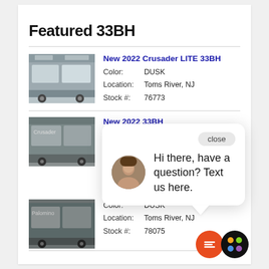Featured 33BH
[Figure (photo): RV trailer photo - New 2022 Crusader LITE 33BH]
New 2022 Crusader LITE 33BH
Color: DUSK
Location: Toms River, NJ
Stock #: 76773
[Figure (photo): RV trailer photo - New 2022 33BH (second listing)]
New 2022 33BH
[Figure (screenshot): Chat popup: Hi there, have a question? Text us here. Close button shown. Agent avatar photo.]
[Figure (photo): RV trailer photo - third listing]
Color: DUSK
Location: Toms River, NJ
Stock #: 78075